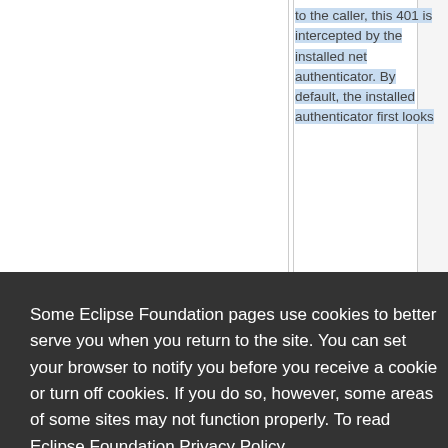to the caller, this 401 is intercepted by the installed net authenticator. By default, the installed authenticator first looks
Some Eclipse Foundation pages use cookies to better serve you when you return to the site. You can set your browser to notify you before you receive a cookie or turn off cookies. If you do so, however, some areas of some sites may not function properly. To read Eclipse Foundation Privacy Policy
click here.
Decline
Allow cookies
NetAuthenticator();